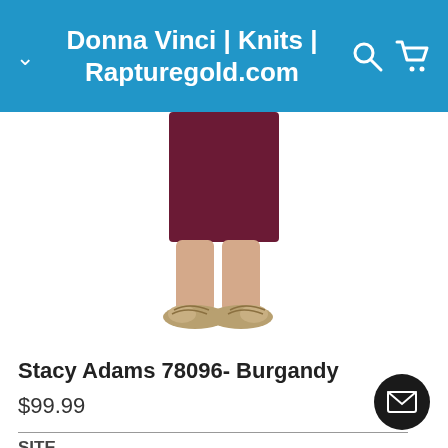Donna Vinci | Knits | Rapturegold.com
[Figure (photo): Lower half of a woman wearing a burgundy/wine-colored midi skirt and nude/gold flat shoes, standing against a white background.]
Stacy Adams 78096- Burgandy
$99.99
SITE